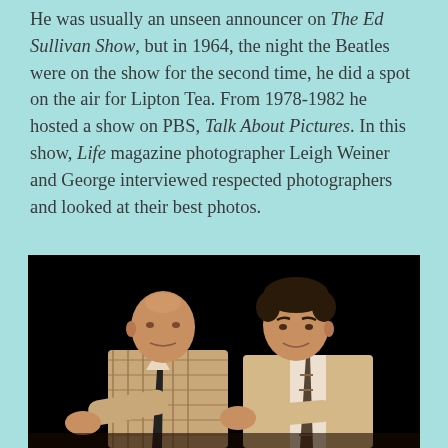He was usually an unseen announcer on The Ed Sullivan Show, but in 1964, the night the Beatles were on the show for the second time, he did a spot on the air for Lipton Tea. From 1978-1982 he hosted a show on PBS, Talk About Pictures. In this show, Life magazine photographer Leigh Weiner and George interviewed respected photographers and looked at their best photos.
[Figure (photo): A black-and-white/color photograph of two men sitting together against a dark background, appearing to be on a television set. The man on the left is bald and wearing a plaid blazer with a dark tie. The man on the right has dark hair and is wearing a tan/beige suit with a striped tie. Both are leaning forward, engaged in conversation.]